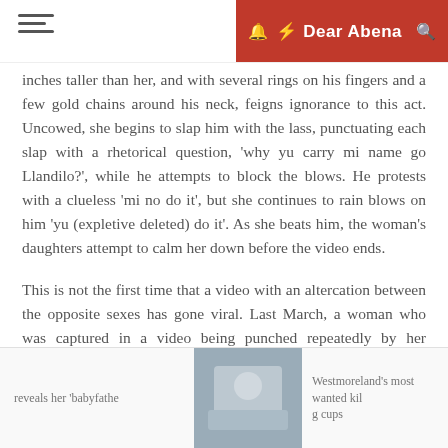Dear Abena
inches taller than her, and with several rings on his fingers and a few gold chains around his neck, feigns ignorance to this act. Uncowed, she begins to slap him with the lass, punctuating each slap with a rhetorical question, 'why yu carry mi name go Llandilo?', while he attempts to block the blows. He protests with a clueless 'mi no do it', but she continues to rain blows on him 'yu (expletive deleted) do it'. As she beats him, the woman's daughters attempt to calm her down before the video ends.
This is not the first time that a video with an altercation between the opposite sexes has gone viral. Last March, a woman who was captured in a video being punched repeatedly by her boyfriend indicated to the police that she would not be pressing charges against him.
[Figure (photo): Thumbnail image for a related article]
reveals her 'babyfathe
Westmoreland's most wanted kil
g cups